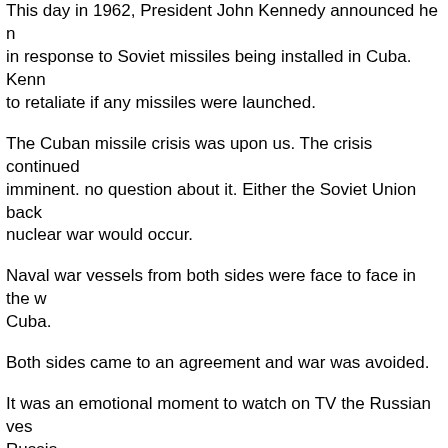This day in 1962, President John Kennedy announced he naval blockade in response to Soviet missiles being installed in Cuba. Kennedy promised to retaliate if any missiles were launched.
The Cuban missile crisis was upon us. The crisis continued and war seemed imminent. no question about it. Either the Soviet Union backed down or nuclear war would occur.
Naval war vessels from both sides were face to face in the waters around Cuba.
Both sides came to an agreement and war was avoided.
It was an emotional moment to watch on TV the Russian vessels turn back to Russia.
Feelings were high. The situation tense. What is happening today is kids stuff in comparison. Though no less serious.